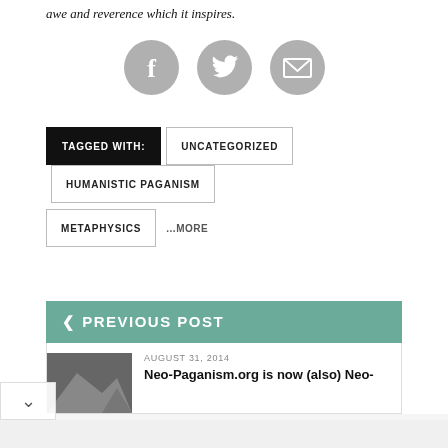awe and reverence which it inspires.
[Figure (illustration): Three circular gray social media icons: Facebook (f), Twitter (bird), and Email (envelope)]
TAGGED WITH: UNCATEGORIZED HUMANISTIC PAGANISM METAPHYSICS ...MORE
< PREVIOUS POST
AUGUST 31, 2014
Neo-Paganism.org is now (also) Neo-